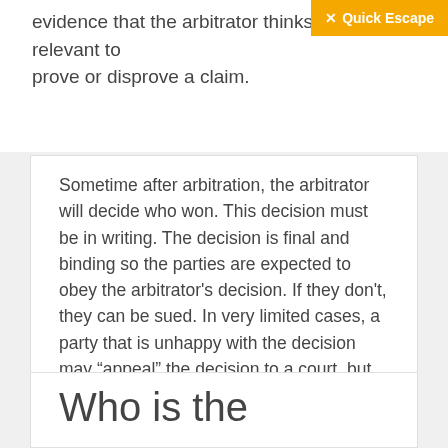evidence that the arbitrator thinks is relevant to prove or disprove a claim.
Sometime after arbitration, the arbitrator will decide who won. This decision must be in writing. The decision is final and binding so the parties are expected to obey the arbitrator's decision. If they don't, they can be sued. In very limited cases, a party that is unhappy with the decision may “appeal” the decision to a court, but an arbitrator's decision is quite difficult to overturn.
Who is the